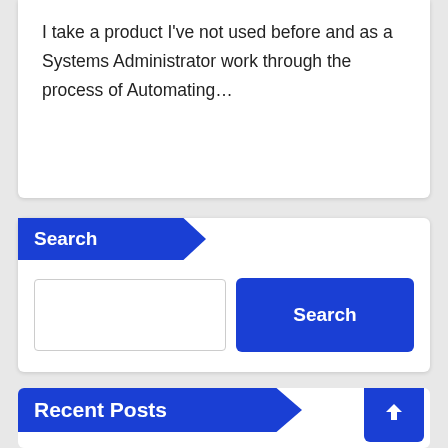I take a product I've not used before and as a Systems Administrator work through the process of Automating…
Search
[Figure (screenshot): Search input box with a blue Search button]
Recent Posts
Getting Started with Flutter on a Chromebook